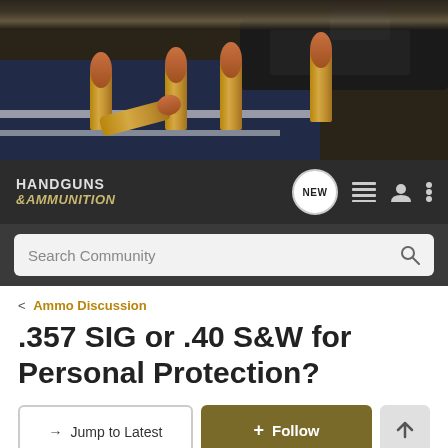[Figure (photo): Hero banner photo showing handgun ammunition bullets in brass casings, some standing upright and some lying on their side, on a dark surface with a partial view of a handgun in the background.]
HANDGUNS & ammunition — navigation bar with NEW button, list icon, profile icon, and menu icon
Search Community
< Ammo Discussion
.357 SIG or .40 S&W for Personal Protection?
→ Jump to Latest
+ Follow
41 - 60 of 72 Posts     |◄  ◄  3 of 4  ►